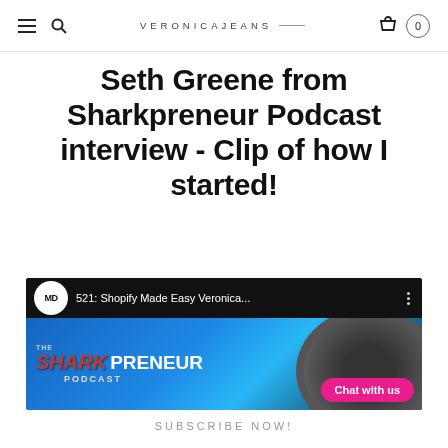VERONICAJEANS
Seth Greene from Sharkpreneur Podcast interview - Clip of how I started!
[Figure (screenshot): YouTube video thumbnail for 'The Shark Preneur Podcast' episode 521: Shopify Made Easy Veronica... with MD logo, blue shark graphic background, and pink 'Chat with us' bubble overlay]
SUBSCRIBE NOW!